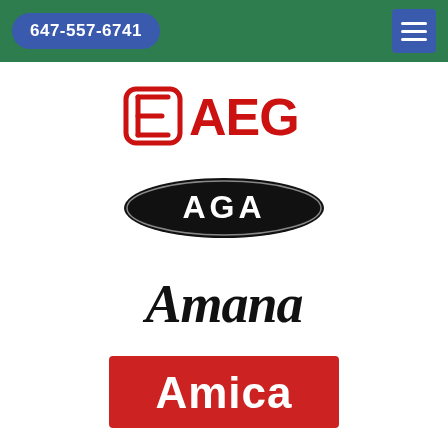647-557-6741
[Figure (logo): AEG brand logo in red with Electrolux symbol]
[Figure (logo): AGA brand logo, white text on black oval badge]
[Figure (logo): Amana brand logo in black italic script]
[Figure (logo): Amica brand logo, white text on red rectangle]